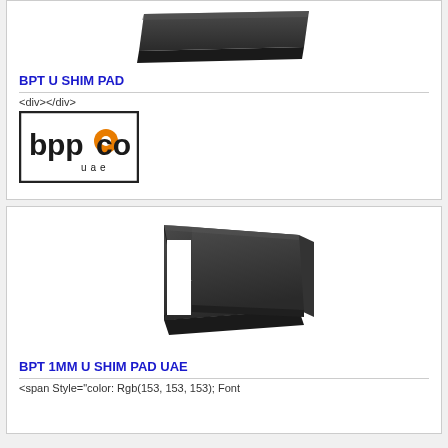[Figure (photo): BPT U Shim Pad product image - dark grey flat U-shaped shim pad viewed from an angle]
BPT U SHIM PAD
<div></div>
[Figure (logo): bppco UAE company logo in a rectangular border]
Sharjah,United Arab Emirates
[Figure (other): Get Quote button with envelope icon]
[Figure (photo): BPT 1MM U Shim Pad UAE product image - dark grey flat U-shaped shim pad viewed from an angle]
BPT 1MM U SHIM PAD UAE
<span Style="color: Rgb(153, 153, 153); Font